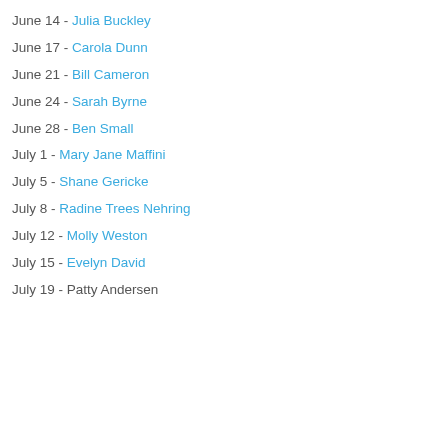June 14 - Julia Buckley
June 17 - Carola Dunn
June 21 - Bill Cameron
June 24 - Sarah Byrne
June 28 - Ben Small
July 1 - Mary Jane Maffini
July 5 - Shane Gericke
July 8 - Radine Trees Nehring
July 12 - Molly Weston
July 15 - Evelyn David
July 19 - Patty Andersen